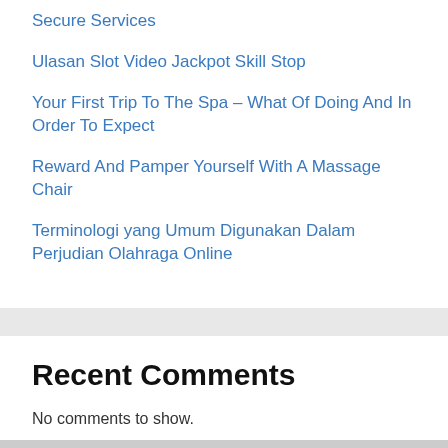Secure Services
Ulasan Slot Video Jackpot Skill Stop
Your First Trip To The Spa – What Of Doing And In Order To Expect
Reward And Pamper Yourself With A Massage Chair
Terminologi yang Umum Digunakan Dalam Perjudian Olahraga Online
Recent Comments
No comments to show.